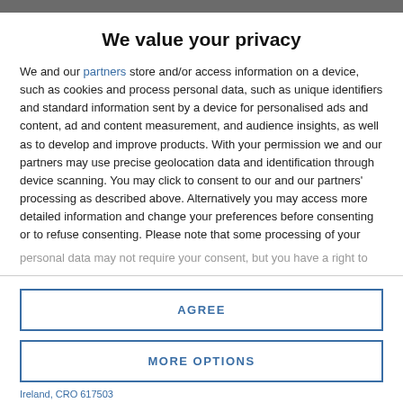We value your privacy
We and our partners store and/or access information on a device, such as cookies and process personal data, such as unique identifiers and standard information sent by a device for personalised ads and content, ad and content measurement, and audience insights, as well as to develop and improve products. With your permission we and our partners may use precise geolocation data and identification through device scanning. You may click to consent to our and our partners' processing as described above. Alternatively you may access more detailed information and change your preferences before consenting or to refuse consenting. Please note that some processing of your personal data may not require your consent, but you have a right to
AGREE
MORE OPTIONS
Ireland, CRO 617503